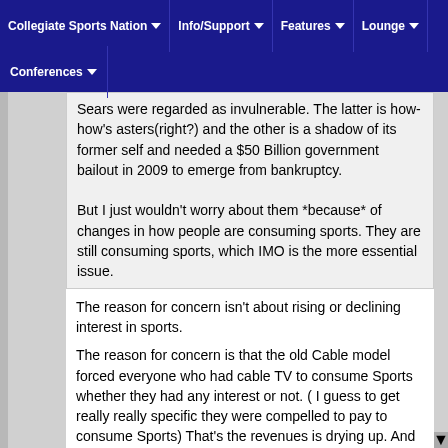Collegiate Sports Nation | Info/Support | Features | Lounge | Conferences
Sears were regarded as invulnerable. The latter is now-how'sasters(right?) and the other is a shadow of its former self and needed a $50 Billion government bailout in 2009 to emerge from bankruptcy.
But I just wouldn't worry about them *because* of changes in how people are consuming sports. They are still consuming sports, which IMO is the more essential issue.
The reason for concern isn't about rising or declining interest in sports.
The reason for concern is that the old Cable model forced everyone who had cable TV to consume Sports whether they had any interest or not. ( I guess to get really really specific they were compelled to pay to consume Sports) That's the revenues is drying up. And screaming is not going to replace that.
That's been balanced by the fact that